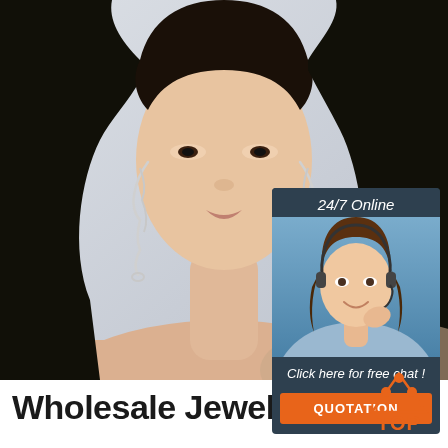[Figure (photo): Fashion model wearing silver earrings, head and shoulders shot against light grey background]
[Figure (infographic): 24/7 Online chat widget with customer service representative photo, 'Click here for free chat!' text, and orange QUOTATION button]
[Figure (logo): TOP badge logo with orange dots arranged in triangle above the word TOP in orange]
Wholesale Jewelry Sets